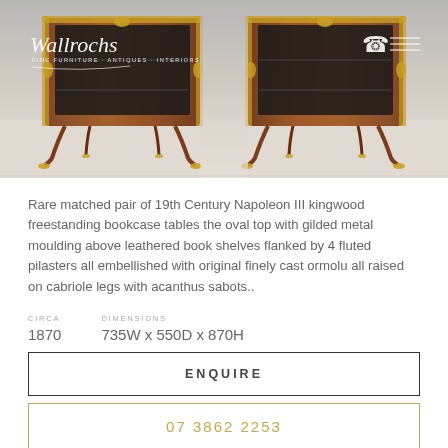[Figure (photo): Photo of a rare matched pair of 19th Century Napoleon III kingwood freestanding bookcase tables with gilded metal moulding, leathered book shelves, fluted pilasters, ormolu, on cabriole legs with acanthus sabots. Wallrochs logo overlay top-left.]
Rare matched pair of 19th Century Napoleon III kingwood freestanding bookcase tables the oval top with gilded metal moulding above leathered book shelves flanked by 4 fluted pilasters all embellished with original finely cast ormolu all raised on cabriole legs with acanthus sabots..
CIRCA
1870
DIMENSIONS
735W x 550D x 870H
ENQUIRE
07 3862 2253